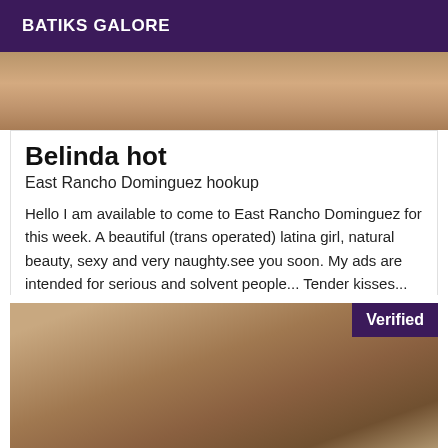BATIKS GALORE
[Figure (photo): Partial photo of a person on a bed, top portion cropped]
Belinda hot
East Rancho Dominguez hookup
Hello I am available to come to East Rancho Dominguez for this week. A beautiful (trans operated) latina girl, natural beauty, sexy and very naughty.see you soon. My ads are intended for serious and solvent people... Tender kisses...
[Figure (photo): Partially visible photo of a person lying face down, with a Verified badge overlay in the top-right corner]